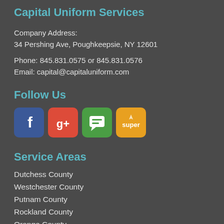Capital Uniform Services
Company Address:
34 Pershing Ave, Poughkeepsie, NY 12601
Phone: 845.831.0575 or 845.831.0576
Email: capital@capitaluniform.com
Follow Us
[Figure (other): Social media icons: Facebook, Google+, chat/messaging app (green), Super (orange)]
Service Areas
Dutchess County
Westchester County
Putnam County
Rockland County
Orange County